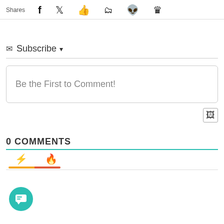Shares
Subscribe ▾
Be the First to Comment!
0 COMMENTS
[Figure (other): Tab icons: lightning bolt (yellow) and flame (red/orange) with colored underline bars]
[Figure (other): Teal circular chat button with message icon at bottom left]